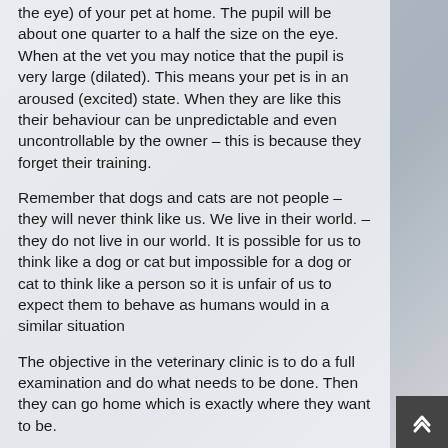the eye) of your pet at home. The pupil will be about one quarter to a half the size on the eye. When at the vet you may notice that the pupil is very large (dilated). This means your pet is in an aroused (excited) state. When they are like this their behaviour can be unpredictable and even uncontrollable by the owner – this is because they forget their training.
Remember that dogs and cats are not people – they will never think like us. We live in their world. – they do not live in our world. It is possible for us to think like a dog or cat but impossible for a dog or cat to think like a person so it is unfair of us to expect them to behave as humans would in a similar situation
The objective in the veterinary clinic is to do a full examination and do what needs to be done. Then they can go home which is exactly where they want to be.